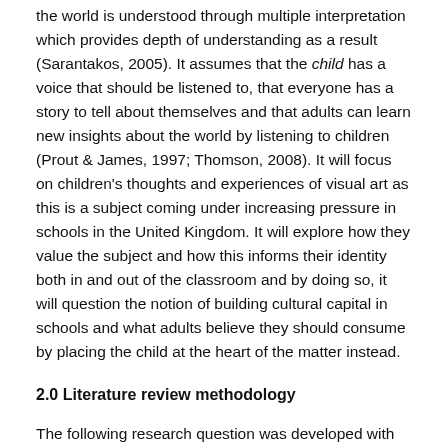the world is understood through multiple interpretation which provides depth of understanding as a result (Sarantakos, 2005). It assumes that the child has a voice that should be listened to, that everyone has a story to tell about themselves and that adults can learn new insights about the world by listening to children (Prout & James, 1997; Thomson, 2008). It will focus on children's thoughts and experiences of visual art as this is a subject coming under increasing pressure in schools in the United Kingdom. It will explore how they value the subject and how this informs their identity both in and out of the classroom and by doing so, it will question the notion of building cultural capital in schools and what adults believe they should consume by placing the child at the heart of the matter instead.
2.0 Literature review methodology
The following research question was developed with the